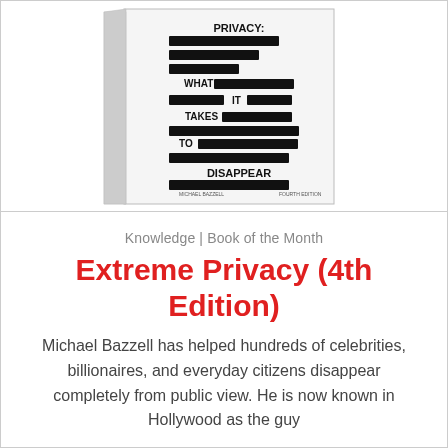[Figure (illustration): Book cover of 'Extreme Privacy: What It Takes To Disappear' by Michael Bazzell, featuring black redaction bars on a white background with the title text visible between them.]
Knowledge | Book of the Month
Extreme Privacy (4th Edition)
Michael Bazzell has helped hundreds of celebrities, billionaires, and everyday citizens disappear completely from public view. He is now known in Hollywood as the guy